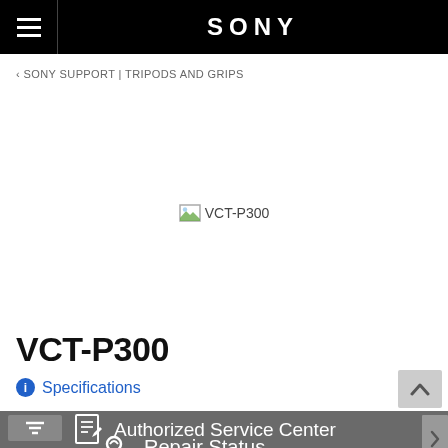SONY
‹ SONY SUPPORT | TRIPODS AND GRIPS
[Figure (photo): Broken image placeholder for VCT-P300 product photo]
VCT-P300
ⓘ Specifications
Authorized Service Center
Repair Status